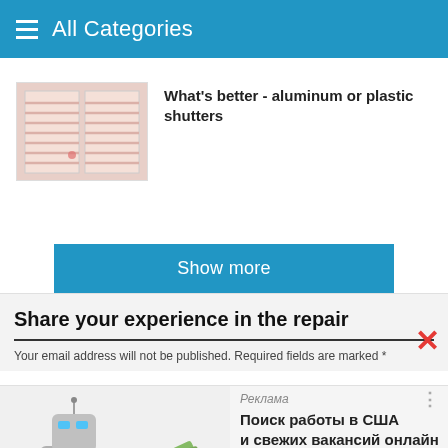≡ All Categories
What's better - aluminum or plastic shutters
[Figure (photo): Photo of window with pink/white shutters]
Show more
Share your experience in the repair
Your email address will not be published. Required fields are marked *
[Figure (photo): Advertisement showing robot with laptop and money bills - Поиск работы в США и свежих вакансий онлайн - work.upola.ru - Узнать больше]